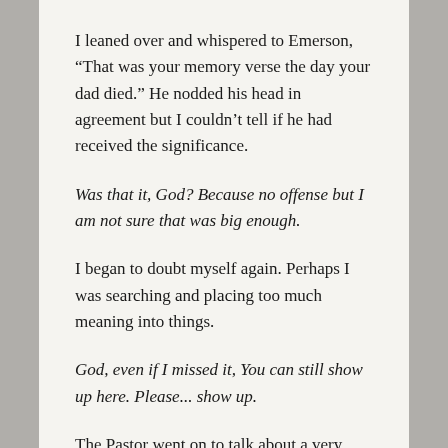I leaned over and whispered to Emerson, “That was your memory verse the day your dad died.” He nodded his head in agreement but I couldn’t tell if he had received the significance.
Was that it, God? Because no offense but I am not sure that was big enough.
I began to doubt myself again. Perhaps I was searching and placing too much meaning into things.
God, even if I missed it, You can still show up here. Please... show up.
The Pastor went on to talk about a very famous psychotherapist, Albert Ellis who discovered Rational Emotive Behavior Therapy. He said Ellis